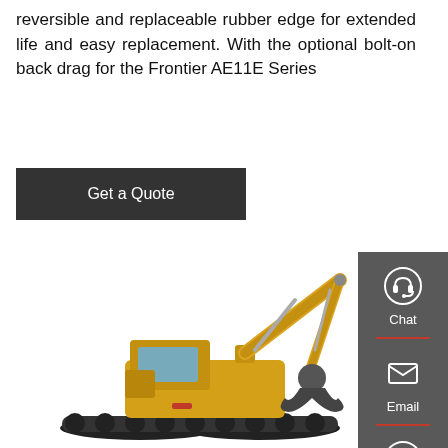reversible and replaceable rubber edge for extended life and easy replacement. With the optional bolt-on back drag for the Frontier AE11E Series
Get a Quote
[Figure (photo): Yellow tracked excavator with extended arm and bucket/claw attachment, shown on white background]
Chat
Email
Contact